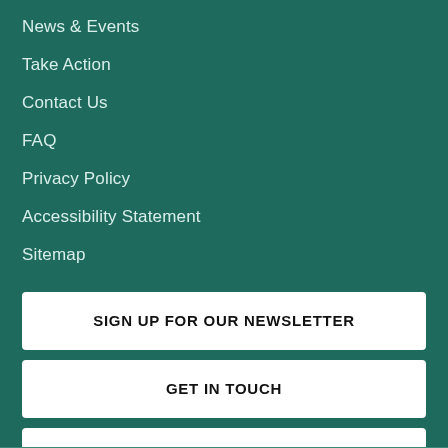News & Events
Take Action
Contact Us
FAQ
Privacy Policy
Accessibility Statement
Sitemap
SIGN UP FOR OUR NEWSLETTER
GET IN TOUCH
DONATE